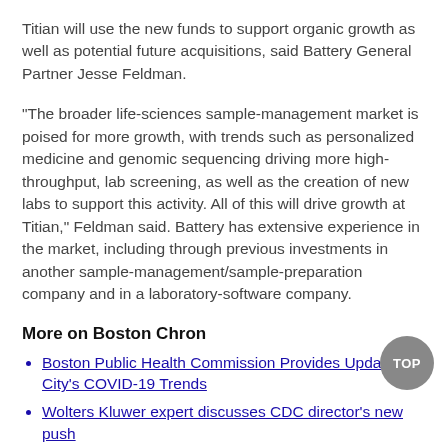Titian will use the new funds to support organic growth as well as potential future acquisitions, said Battery General Partner Jesse Feldman.
"The broader life-sciences sample-management market is poised for more growth, with trends such as personalized medicine and genomic sequencing driving more high-throughput, lab screening, as well as the creation of new labs to support this activity. All of this will drive growth at Titian," Feldman said. Battery has extensive experience in the market, including through previous investments in another sample-management/sample-preparation company and in a laboratory-software company.
More on Boston Chron
Boston Public Health Commission Provides Update on City's COVID-19 Trends
Wolters Kluwer expert discusses CDC director's new push